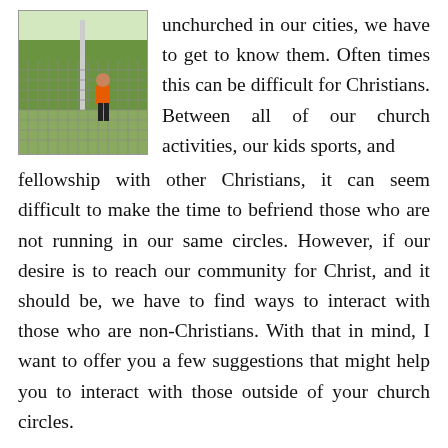[Figure (photo): Outdoor baseball or softball field scene viewed through a chain-link fence. A person wearing an orange shirt and black shorts/pants is visible in the middle ground. Green trees and a light pole are in the background.]
unchurched in our cities, we have to get to know them. Often times this can be difficult for Christians. Between all of our church activities, our kids sports, and fellowship with other Christians, it can seem difficult to make the time to befriend those who are not running in our same circles. However, if our desire is to reach our community for Christ, and it should be, we have to find ways to interact with those who are non-Christians. With that in mind, I want to offer you a few suggestions that might help you to interact with those outside of your church circles.
W... t I...t